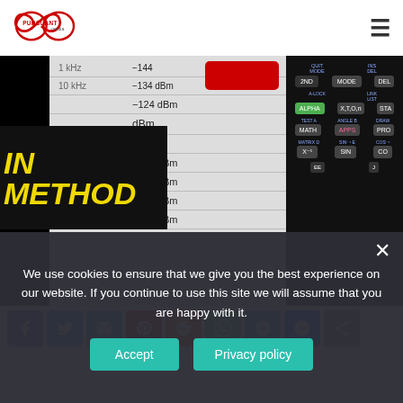[Figure (logo): Pursuant Media logo - infinity symbol with text PURSUANT media]
[Figure (screenshot): Video thumbnail showing a table of radio frequency sensitivity values in dBm alongside a TI calculator. Text overlay reads 'IN METHOD' in yellow italic bold font on black background. Also shows a YouTube subscribe button.]
[Figure (infographic): Social media share icons: Facebook, Twitter, Email, Pinterest, Reddit, WhatsApp, Telegram, Messenger, Share]
We use cookies to ensure that we give you the best experience on our website. If you continue to use this site we will assume that you are happy with it.
Accept
Privacy policy